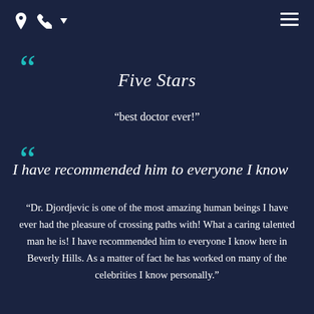Navigation header with location pin icon, phone icon with dropdown, and hamburger menu icon
Five Stars
“best doctor ever!”
I have recommended him to everyone I know
“Dr. Djordjevic is one of the most amazing human beings I have ever had the pleasure of crossing paths with! What a caring talented man he is! I have recommended him to everyone I know here in Beverly Hills. As a matter of fact he has worked on many of the celebrities I know personally.”